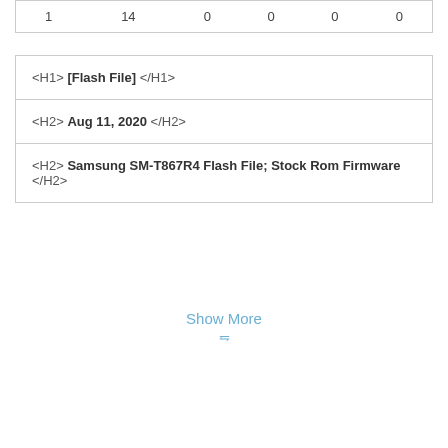| 1 | 14 | 0 | 0 | 0 | 0 |
| <H1> [Flash File] </H1> |
| <H2> Aug 11, 2020 </H2> |
| <H2> Samsung SM-T867R4 Flash File; Stock Rom Firmware </H2> |
Show More